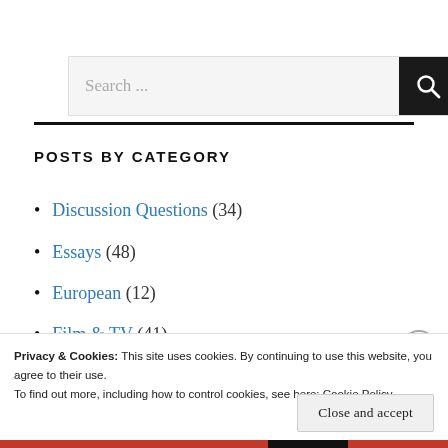[Figure (screenshot): Search bar with text 'Search ...' and a dark search button with magnifying glass icon]
POSTS BY CATEGORY
Discussion Questions (34)
Essays (48)
European (12)
Film & TV (41)
Privacy & Cookies: This site uses cookies. By continuing to use this website, you agree to their use.
To find out more, including how to control cookies, see here: Cookie Policy
Close and accept